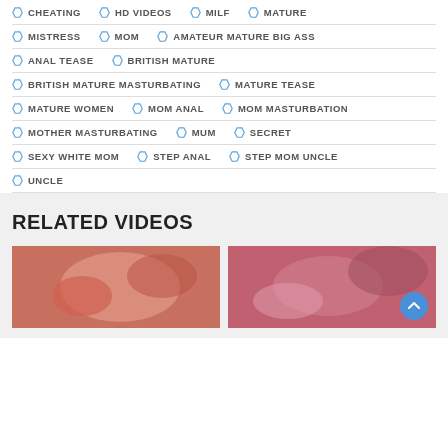CHEATING
HD VIDEOS
MILF
MATURE
MISTRESS
MOM
AMATEUR MATURE BIG ASS
ANAL TEASE
BRITISH MATURE
BRITISH MATURE MASTURBATING
MATURE TEASE
MATURE WOMEN
MOM ANAL
MOM MASTURBATION
MOTHER MASTURBATING
MUM
SECRET
SEXY WHITE MOM
STEP ANAL
STEP MOM UNCLE
UNCLE
RELATED VIDEOS
[Figure (photo): Two thumbnail images of related videos]
[Figure (photo): Second related video thumbnail with scroll-to-top button]